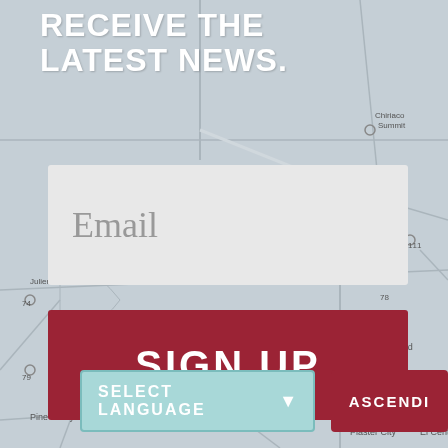[Figure (map): Grayscale road map background showing Southern California region including Salton City, Desert State Park, Westmorland, Brawley, Mt Laguna, Pine Valley, Plaster City, El Centro area]
RECEIVE THE LATEST NEWS.
Email
SIGN UP
SELECT LANGUAGE
ASCENDI